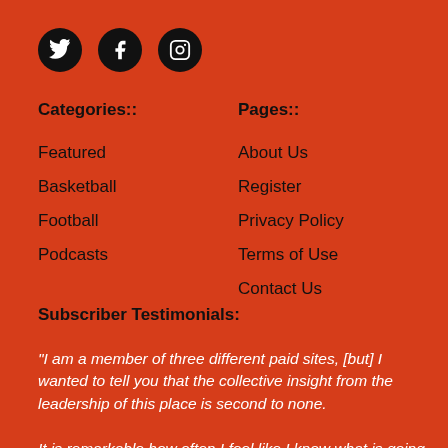[Figure (other): Three social media icons (Twitter, Facebook, Instagram) as white symbols on black circles]
Categories::
Pages::
Featured
About Us
Basketball
Register
Football
Privacy Policy
Podcasts
Terms of Use
Contact Us
Subscriber Testimonials:
"I am a member of three different paid sites, [but] I wanted to tell you that the collective insight from the leadership of this place is second to none.

It is remarkable how often I feel like I know what is going to happen before it happens. I am so appreciative of the obvious hard work that you guys are giving ....